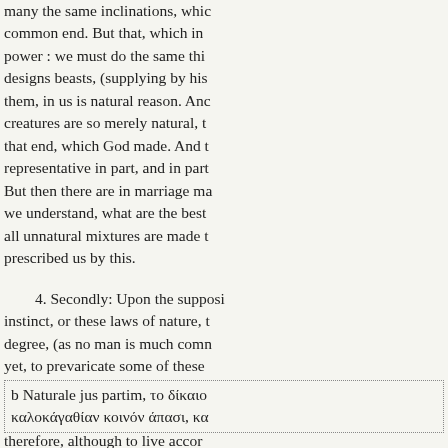many the same inclinations, which common end. But that, which in power : we must do the same thi designs beasts, (supplying by his them, in us is natural reason. Anc creatures are so merely natural, t that end, which God made. And t representative in part, and in part But then there are in marriage ma we understand, what are the best all unnatural mixtures are made t prescribed us by this.
4. Secondly: Upon the supposi instinct, or these laws of nature, t degree, (as no man is much comm yet, to prevaricate some of these
b Naturale jus partim, το δίκαιο καλοκάγαθίαν κοινόν άπασι, κο
therefore, although to live accor and rises 'no higher; yet, to do an mean of actions whose scene lies virtue.